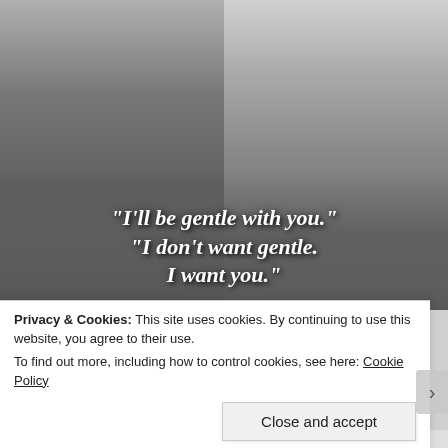[Figure (photo): Black and white romantic/intimate photo of a couple embracing, with white italic text overlaid at the bottom reading quote lines about being gentle.]
Privacy & Cookies: This site uses cookies. By continuing to use this website, you agree to their use.
To find out more, including how to control cookies, see here: Cookie Policy
Close and accept